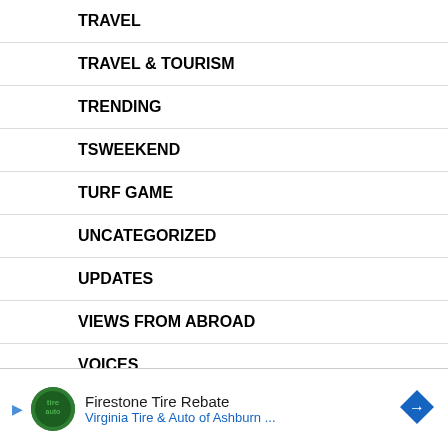TRAVEL
TRAVEL & TOURISM
TRENDING
TSWEEKEND
TURF GAME
UNCATEGORIZED
UPDATES
VIEWS FROM ABROAD
VOICES
WORLD
WORLD NEWS
[Figure (other): Advertisement banner for Firestone Tire Rebate by Virginia Tire & Auto of Ashburn, with play button, logo, text, and directional arrow icon]